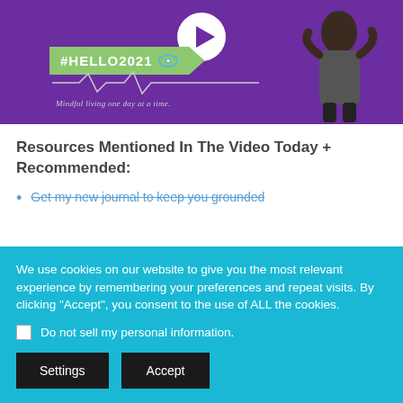[Figure (screenshot): Video thumbnail with purple background showing a woman, #HELLO2021 hashtag in a green speech bubble, a play button, a heartbeat line, and the text 'Mindful living one day at a time.']
Resources Mentioned In The Video Today + Recommended:
Get my new journal to keep you grounded
We use cookies on our website to give you the most relevant experience by remembering your preferences and repeat visits. By clicking "Accept", you consent to the use of ALL the cookies.
Do not sell my personal information.
Settings  Accept